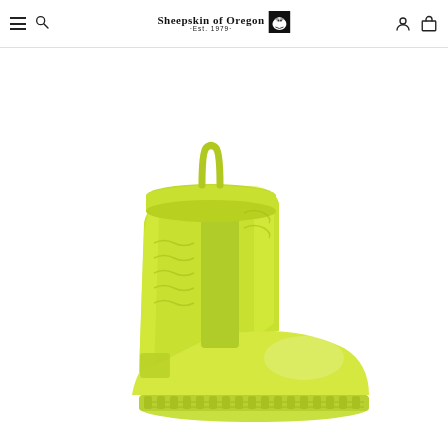Sheepskin of Oregon • Est. 1979 •
[Figure (photo): Yellow-green UGG Classic Mini Clear boot with transparent outer shell showing sheepskin interior, white UGG logo on side strap, loop pull at top, displayed on white background]